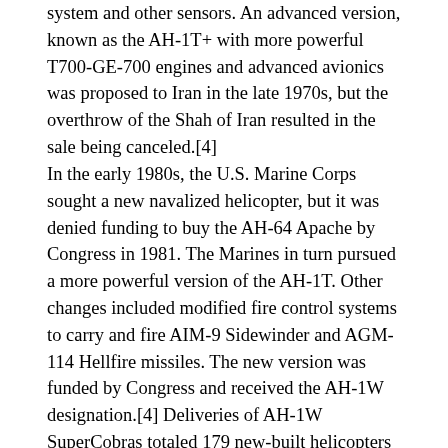system and other sensors. An advanced version, known as the AH-1T+ with more powerful T700-GE-700 engines and advanced avionics was proposed to Iran in the late 1970s, but the overthrow of the Shah of Iran resulted in the sale being canceled.[4]
In the early 1980s, the U.S. Marine Corps sought a new navalized helicopter, but it was denied funding to buy the AH-64 Apache by Congress in 1981. The Marines in turn pursued a more powerful version of the AH-1T. Other changes included modified fire control systems to carry and fire AIM-9 Sidewinder and AGM-114 Hellfire missiles. The new version was funded by Congress and received the AH-1W designation.[4] Deliveries of AH-1W SuperCobras totaled 179 new-built helicopters plus 43 upgrades of AH-1Ts.[5]
The AH-1T+ demonstrator and AH-1W prototype were later tested with a new experimental composite four-blade main rotor system. The new system offered better performance, reduced noise and improved battle